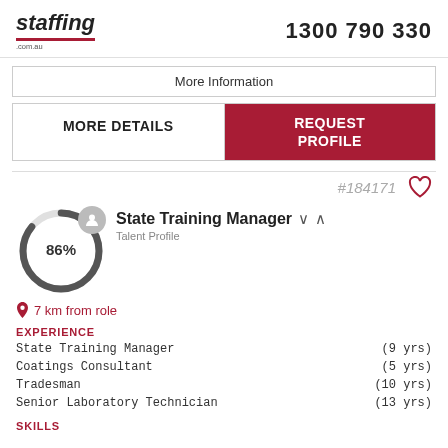staffing.com.au  1300 790 330
More Information
MORE DETAILS  REQUEST PROFILE
#184171
State Training Manager
Talent Profile
86%
7 km from role
EXPERIENCE
| Role | Duration |
| --- | --- |
| State Training Manager | (9 yrs) |
| Coatings Consultant | (5 yrs) |
| Tradesman | (10 yrs) |
| Senior Laboratory Technician | (13 yrs) |
SKILLS